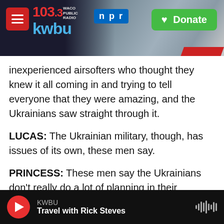KWBU 103.3 WACO PUBLIC RADIO — NPR — Donate
inexperienced airsofters who thought they knew it all coming in and trying to tell everyone that they were amazing, and the Ukrainians saw straight through it.
LUCAS: The Ukrainian military, though, has issues of its own, these men say.
PRINCESS: These men say the Ukrainians don't really do a lot of planning in their process. They're sort of like, oh, here's a thing, go and do that - which generally doesn't work very well.
KWBU — Travel with Rick Steves